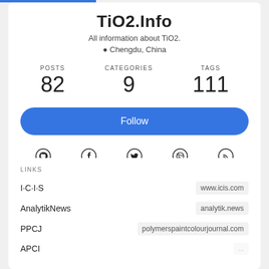TiO2.Info
All information about TiO2.
📍 Chengdu, China
POSTS 82   CATEGORIES 9   TAGS 111
Follow
[Figure (infographic): Social media icons: GitHub, Facebook, Twitter, Dribbble, RSS]
LINKS
I·C·I·S   www.icis.com
AnalytikNews   analytik.news
PPCJ   polymerspaintcolourjournal.com
APCI   ...